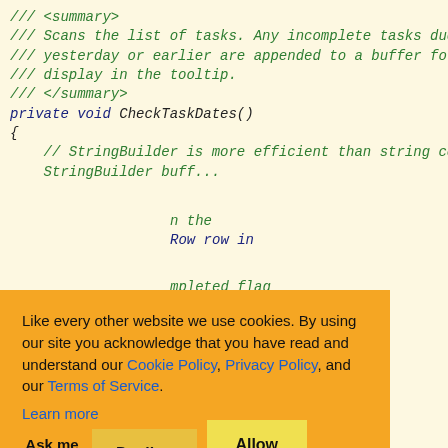[Figure (screenshot): Code snippet showing C# XML doc comment for CheckTaskDates() method with a cookie consent banner overlaid on top of the code]
Like every other website we use cookies. By using our site you acknowledge that you have read and understand our Cookie Policy, Privacy Policy, and our Terms of Service. Learn more
Ask me later   Decline   Allow cookies